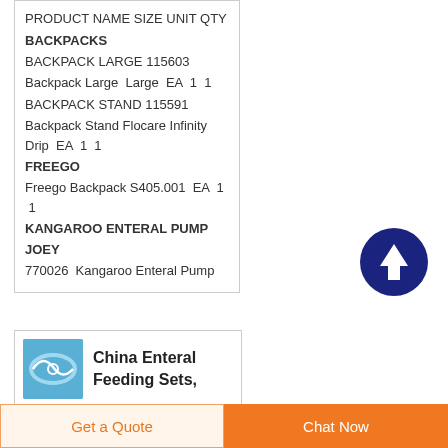| PRODUCT NAME | SIZE | UNIT | QTY |
| --- | --- | --- | --- |
| BACKPACKS |  |  |  |
| BACKPACK LARGE 115603 |  |  |  |
| Backpack Large | Large | EA | 1 1 |
| BACKPACK STAND 115591 |  |  |  |
| Backpack Stand Flocare Infinity Drip |  | EA | 1 1 |
| FREEGO |  |  |  |
| Freego Backpack S405.001 |  | EA | 1 1 |
| KANGAROO ENTERAL PUMP JOEY 770026 |  |  |  |
| Kangaroo Enteral Pump |  |  |  |
[Figure (other): Dark blue circular scroll-to-top button with white upward arrow]
[Figure (photo): Blue square thumbnail image of enteral feeding set tube]
China Enteral Feeding Sets,
Enteral Feeding Sets...
Get a Quote
Chat Now